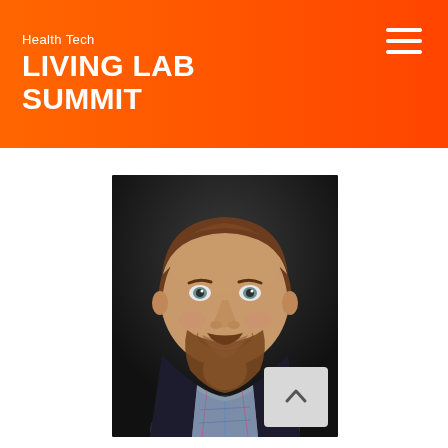Health Tech LIVING LAB SUMMIT
[Figure (photo): Professional headshot of a smiling man with brown hair and beard, wearing a dark blazer and plaid shirt, against a dark background]